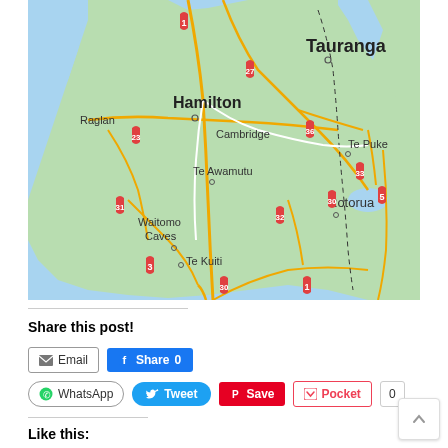[Figure (map): Google Maps view of the Waikato/Bay of Plenty region of New Zealand, showing cities Hamilton, Tauranga, Raglan, Cambridge, Te Awamutu, Waitomo Caves, Te Kuiti, Rotorua, Te Puke, and route numbers 1, 3, 5, 23, 27, 30, 31, 32, 33, 36.]
Share this post!
Email
Facebook Share 0
WhatsApp
Tweet
Save
Pocket 0
Like this: